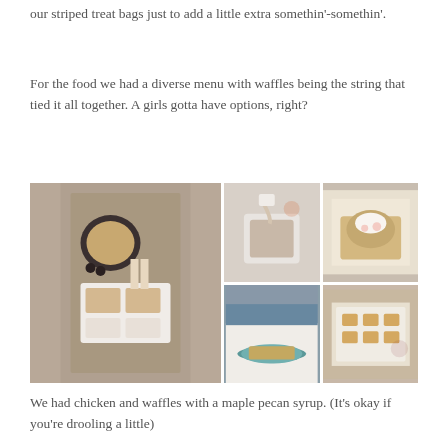our striped treat bags just to add a little extra somethin'-somethin'.
For the food we had a diverse menu with waffles being the string that tied it all together. A girls gotta have options, right?
[Figure (photo): A collage of six photos showing waffles being made and served: a top-down view of a waffle party spread, someone pouring batter into a waffle iron, a waffle topped with cream and fruit, plates of waffles with toppings, a person holding a teal plate with a waffle, and a tray of small waffles.]
We had chicken and waffles with a maple pecan syrup. (It's okay if you're drooling a little)